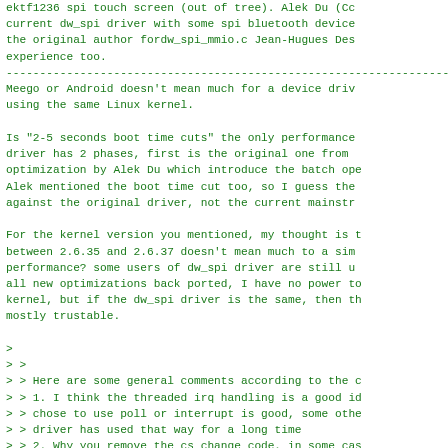ektf1236 spi touch screen (out of tree). Alek Du (Cc
current dw_spi driver with some spi bluetooth device
the original author fordw_spi_mmio.c Jean-Hugues Des
experience too.
--------------------------------------------------------------------------------
Meego or Android doesn't mean much for a device driv
using the same Linux kernel.

Is "2-5 seconds boot time cuts" the only performance
driver has 2 phases, first is the original one from 
optimization by Alek Du which introduce the batch ope
Alek mentioned the boot time cut too, so I guess the
against the original driver, not the current mainstr

For the kernel version you mentioned, my thought is 
between 2.6.35 and 2.6.37 doesn't mean much to a sim
performance? some users of dw_spi driver are still u
all new optimizations back ported, I have no power t
kernel, but if the dw_spi driver is the same, then t
mostly trustable.

>
> >
> > Here are some general comments according to the 
> > 1. I think the threaded irq handling is a good i
> > chose to use poll or interrupt is good, some oth
> > driver has used that way for a long time
> > 2. Why you remove the cs_change code, in some ca
> > is only be used by one device, we don't need do 
> > every single spi_transfer
>
> There is no guarantee that all the transfers in a